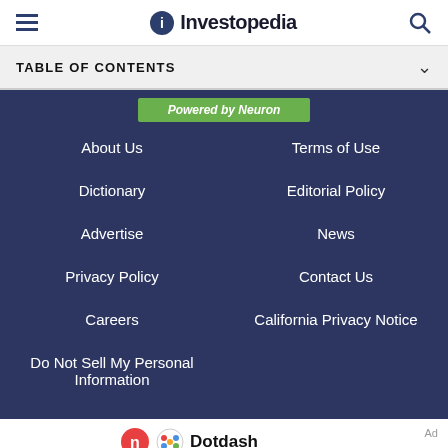Investopedia
TABLE OF CONTENTS
About Us
Terms of Use
Dictionary
Editorial Policy
Advertise
News
Privacy Policy
Contact Us
Careers
California Privacy Notice
Do Not Sell My Personal Information
Dotdash
We help people find answers, solve problems and get inspired. Dotdash meredith